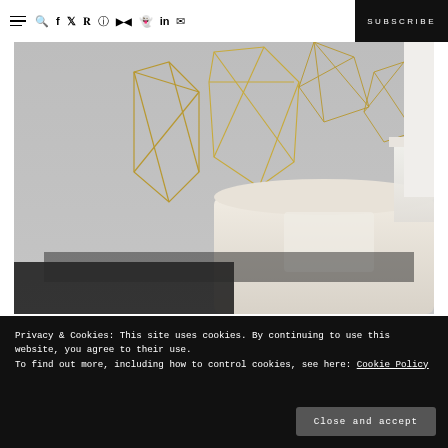≡ 🔍 f 𝕏 P ⊕ Yt 👻 in ✉ SUBSCRIBE
[Figure (photo): A bedroom interior photo showing gold geometric wire wall art (diamond/polygon shapes) hung on a grey wall above a cream upholstered headboard with white pillows, and a lamp visible on the right side.]
Privacy & Cookies: This site uses cookies. By continuing to use this website, you agree to their use.
To find out more, including how to control cookies, see here: Cookie Policy
Close and accept